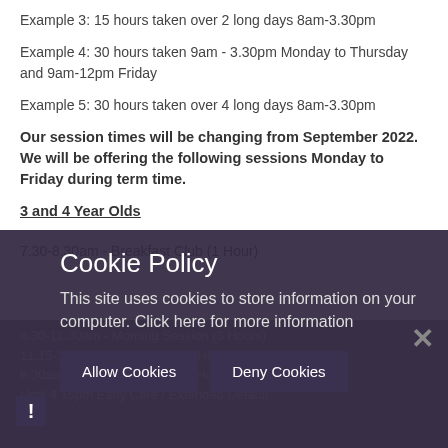Example 3: 15 hours taken over 2 long days 8am-3.30pm
Example 4: 30 hours taken 9am - 3.30pm Monday to Thursday and 9am-12pm Friday
Example 5: 30 hours taken over 4 long days 8am-3.30pm
Our session times will be changing from September 2022. We will be offering the following sessions Monday to Friday during term time.
3 and 4 Year Olds
7.30-8.30am - Breakfast Club (1 Hour)
8.30-11.30am - Morning Session (3 Hours)
11.15-12.15pm - Lunchtime (1 Hour)
8.30am - 3.30pm - Full Day (6 Hours)
Until 4.15pm Early Years Extended (Default)
Cookie Policy
This site uses cookies to store information on your computer. Click here for more information
Allow Cookies   Deny Cookies